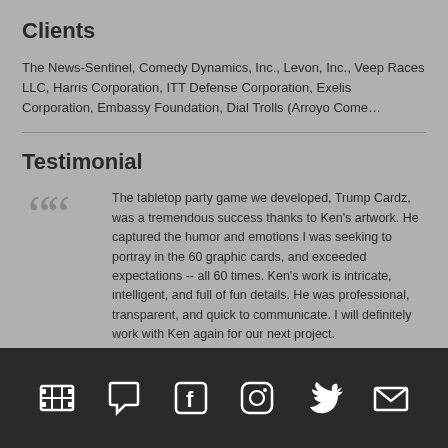Clients
The News-Sentinel, Comedy Dynamics, Inc., Levon, Inc., Veep Races LLC, Harris Corporation, ITT Defense Corporation, Exelis Corporation, Embassy Foundation, Dial Trolls (Arroyo Come…
Testimonial
The tabletop party game we developed, Trump Cardz, was a tremendous success thanks to Ken's artwork. He captured the humor and emotions I was seeking to portray in the 60 graphic cards, and exceeded expectations -- all 60 times. Ken's work is intricate, intelligent, and full of fun details. He was professional, transparent, and quick to communicate. I will definitely work with Ken again for our next project.
— Elliot, Founder, Trump Cardz
[film icon] [chat icon] [facebook icon] [instagram icon] [twitter icon] [email icon]